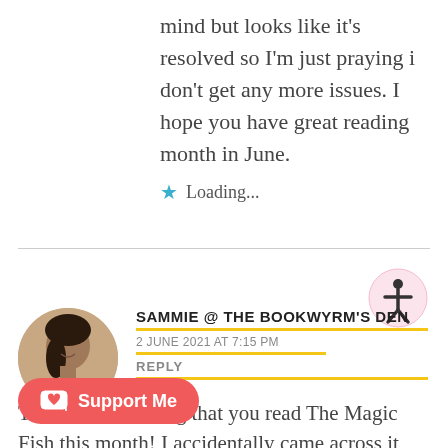mind but looks like it's resolved so I'm just praying i don't get any more issues. I hope you have great reading month in June.
Loading...
SAMMIE @ THE BOOKWYRM'S DEN
2 JUNE 2021 AT 7:15 PM
REPLY
That's so interesting that you read The Magic Fish this month! I accidentally came across it through my library's app when I was looking for something else and thought that it